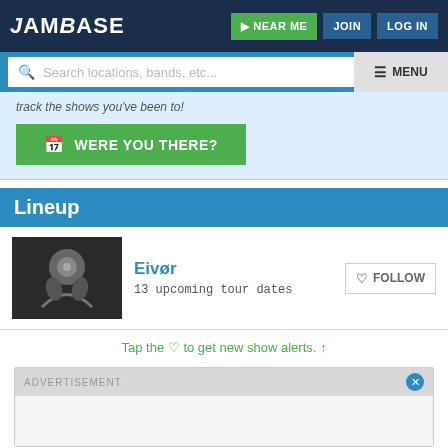JamBase — NEAR ME | JOIN | LOG IN
[Figure (screenshot): Search bar with placeholder 'Search locations, bands, etc...' and MENU button]
track the shows you've been to!
[Figure (other): Green button: WERE YOU THERE?]
Lineup
[Figure (photo): Black and white photo of Eivør artist]
Eivør
13 upcoming tour dates
Tap the ♡ to get new show alerts. ↑
ADVERTISEMENT